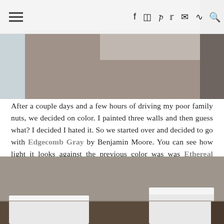navigation bar with hamburger menu and social icons
[Figure (photo): Interior room photo showing gray painted wall with electrical outlet visible, partial view of room near top of page]
After a couple days and a few hours of driving my poor family nuts, we decided on color. I painted three walls and then guess what? I decided I hated it. So we started over and decided to go with Edgecomb Gray by Benjamin Moore. You can see how light it looks against the previous color was was Ethereal Mood by Sherwin Williams. We absolutely loved that color too but just needed a change!
[Figure (photo): Interior dining room photo showing gray painted walls with white chairs visible at bottom of page]